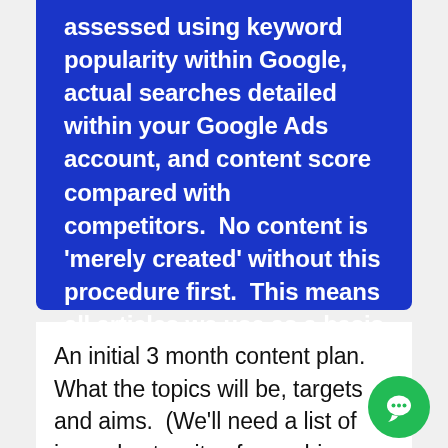assessed using keyword popularity within Google, actual searches detailed within your Google Ads account, and content score compared with competitors.  No content is 'merely created' without this procedure first.  This means all articles we use as a basis will have the relevant content built in.
An initial 3 month content plan.  What the topics will be, targets and aims.  (We'll need a list of journals etc, sites from which content can be gleaned).